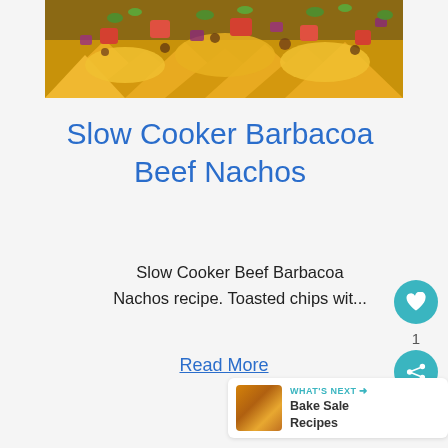[Figure (photo): Overhead photo of loaded nachos with melted cheese, diced tomatoes, red onions, cilantro, and ground beef on tortilla chips]
Slow Cooker Barbacoa Beef Nachos
Slow Cooker Beef Barbacoa Nachos recipe. Toasted chips wit...
Read More